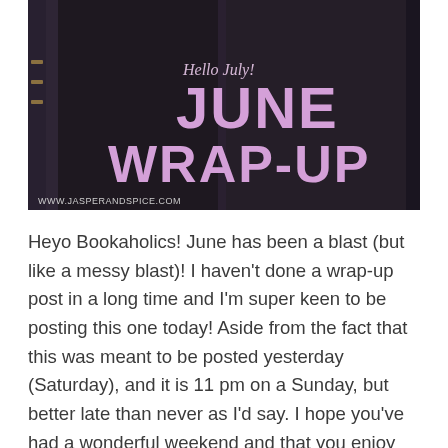[Figure (photo): Banner image showing stacked books with purple decorative covers. Overlaid text reads 'Hello July!' in script, and 'JUNE WRAP-UP' in large bold lavender/pink letters. Bottom left shows 'WWW.JASPERANDSPICE.COM'.]
Heyo Bookaholics! June has been a blast (but like a messy blast)! I haven't done a wrap-up post in a long time and I'm super keen to be posting this one today! Aside from the fact that this was meant to be posted yesterday (Saturday), and it is 11 pm on a Sunday, but better late than never as I'd say. I hope you've had a wonderful weekend and that you enjoy this send off